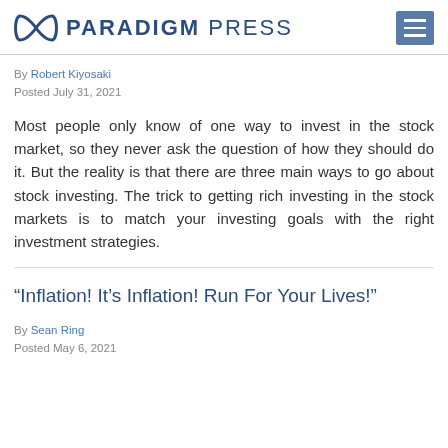PARADIGM PRESS
By Robert Kiyosaki
Posted July 31, 2021
Most people only know of one way to invest in the stock market, so they never ask the question of how they should do it. But the reality is that there are three main ways to go about stock investing. The trick to getting rich investing in the stock markets is to match your investing goals with the right investment strategies.
“Inflation! It’s Inflation! Run For Your Lives!”
By Sean Ring
Posted May 6, 2021